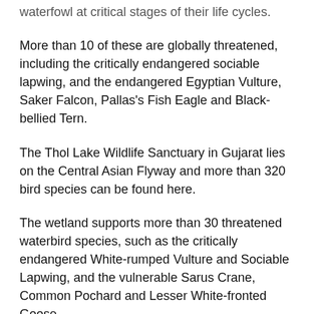waterfowl at critical stages of their life cycles.
More than 10 of these are globally threatened, including the critically endangered sociable lapwing, and the endangered Egyptian Vulture, Saker Falcon, Pallas's Fish Eagle and Black-bellied Tern.
The Thol Lake Wildlife Sanctuary in Gujarat lies on the Central Asian Flyway and more than 320 bird species can be found here.
The wetland supports more than 30 threatened waterbird species, such as the critically endangered White-rumped Vulture and Sociable Lapwing, and the vulnerable Sarus Crane, Common Pochard and Lesser White-fronted Goose.
The Wadhvana Wetland in Gujarat is internationally important for its birdlife as it provides wintering ground to migratory